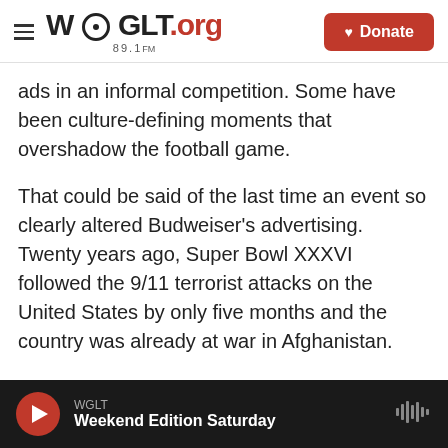WGLT.org 89.1FM | Donate
ads in an informal competition. Some have been culture-defining moments that overshadow the football game.
That could be said of the last time an event so clearly altered Budweiser's advertising. Twenty years ago, Super Bowl XXXVI followed the 9/11 terrorist attacks on the United States by only five months and the country was already at war in Afghanistan.
The Clydesdale draft horses starred in that elegiac tribute, as they traveled from rural America to New
WGLT — Weekend Edition Saturday